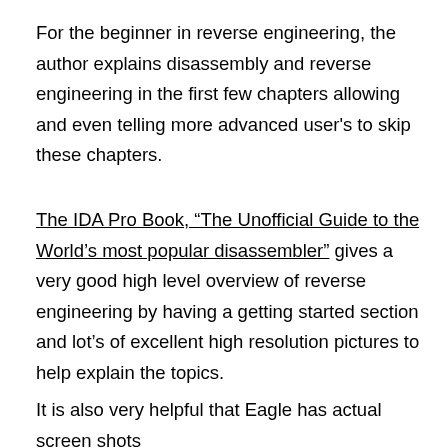For the beginner in reverse engineering, the author explains disassembly and reverse engineering in the first few chapters allowing and even telling more advanced user's to skip these chapters.
The IDA Pro Book, “The Unofficial Guide to the World’s most popular disassembler” gives a very good high level overview of reverse engineering by having a getting started section and lot’s of excellent high resolution pictures to help explain the topics.
It is also very helpful that Eagle has actual screen shots